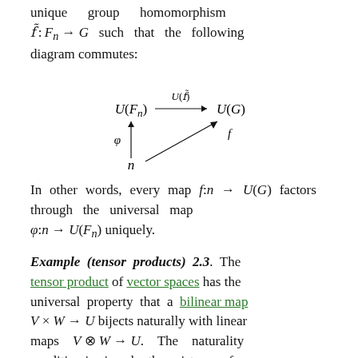unique group homomorphism f̃ : F_n → G such that the following diagram commutes:
[Figure (math-figure): Commutative diagram showing U(F_n) --U(f̃)--> U(G) with phi upward arrow from n and diagonal arrow f from n to U(G)]
In other words, every map f: n → U(G) factors through the universal map φ: n → U(F_n) uniquely.
Example (tensor products) 2.3. The tensor product of vector spaces has the universal property that a bilinear map V × W → U bijects naturally with linear maps V ⊗ W → U. The naturality condition is given by the existence of a universal bilinear map...